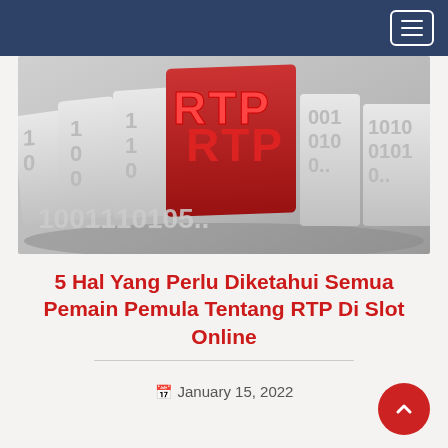Navigation header with hamburger menu
[Figure (photo): 3D rendered image of red RTP letters surrounded by white binary digits (0s and 1s) on grey rectangular blocks, conveying digital/online slot machine RTP concept]
5 Hal Yang Perlu Diketahui Semua Pemain Pemula Tentang RTP Di Slot Online
January 15, 2022
Slot adalah opsi paling populer di kasino online